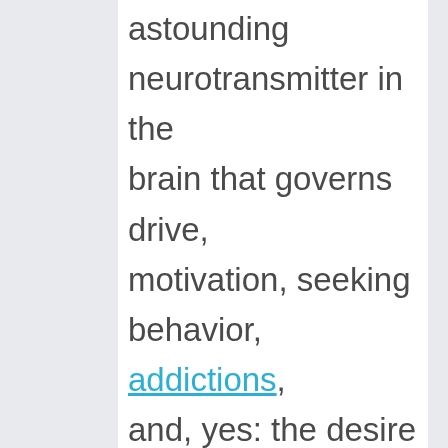astounding neurotransmitter in the brain that governs drive, motivation, seeking behavior, addictions, and, yes: the desire for the imagined MORE. When it comes to wanting more, dopamine is often the major player.

The brain imagines